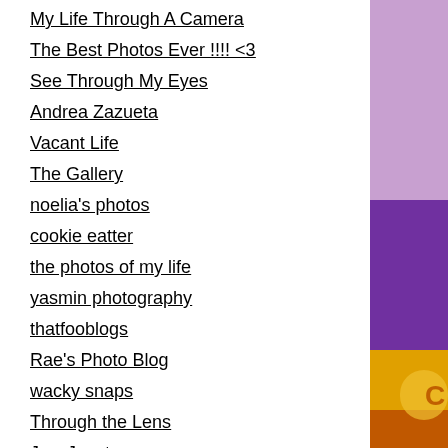My Life Through A Camera
The Best Photos Ever !!!! <3
See Through My Eyes
Andrea Zazueta
Vacant Life
The Gallery
noelia's photos
cookie eatter
the photos of my life
yasmin photography
thatfooblogs
Rae's Photo Blog
wacky snaps
Through the Lens
JaysJunctures
Garcia' Photos
Nathan Blog Life